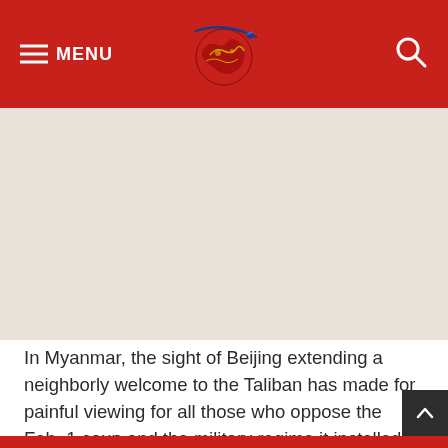MENU
[Figure (logo): Red globe with dragon and satellite orbit logo]
In Myanmar, the sight of Beijing extending a neighborly welcome to the Taliban has made for painful viewing for all those who oppose the Feb. 1 coup and the military regime it installed.